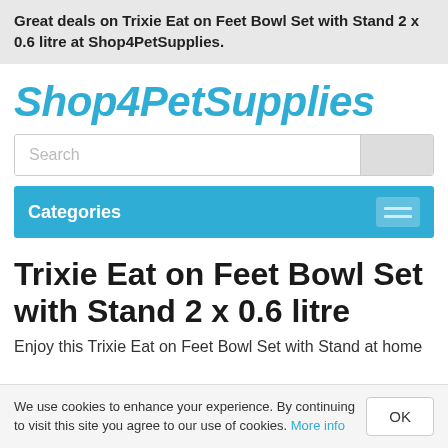Great deals on Trixie Eat on Feet Bowl Set with Stand 2 x 0.6 litre at Shop4PetSupplies.
Shop4PetSupplies
Search
Categories
Trixie Eat on Feet Bowl Set with Stand 2 x 0.6 litre
Enjoy this Trixie Eat on Feet Bowl Set with Stand at home
We use cookies to enhance your experience. By continuing to visit this site you agree to our use of cookies. More info